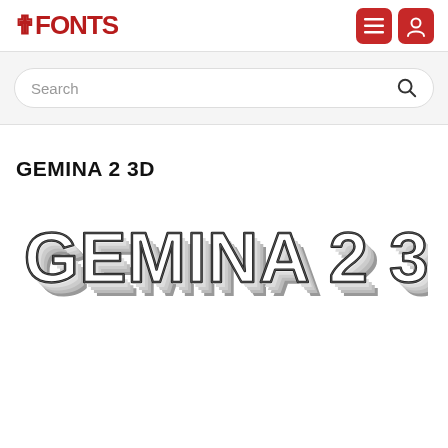FONTS
Search
GEMINA 2 3D
[Figure (illustration): Font preview showing 'GEMINA 2 3D' rendered in the Gemina 2 3D typeface with a bold, geometric, 3D effect style with white fill and dark outline giving a three-dimensional appearance]